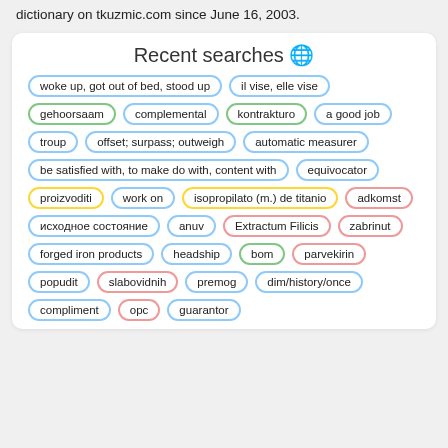dictionary on tkuzmic.com since June 16, 2003.
Recent searches 🌐
woke up, got out of bed, stood up
il vise, elle vise
gehoorsaam
complemental
kontrakturo
a good job
troup
offset; surpass; outweigh
automatic measurer
be satisfied with, to make do with, content with
equivocator
proizvoditi
work on
isopropilato (m.) de titanio
adkomst
исходное состояние
anuv
Extractum Filicis
zabrinut
forged iron products
headship
bom
parvekirin
popudit
slabovidnih
premog
dim/history/once
compliment
орс
guarantor